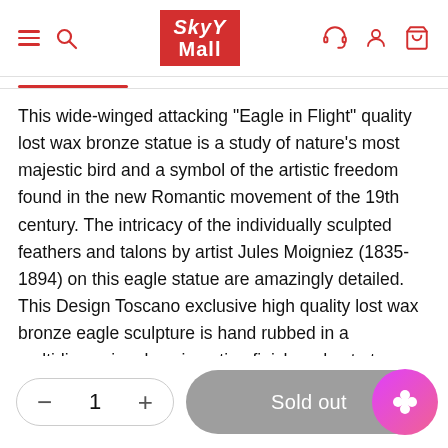SkyMall
This wide-winged attacking "Eagle in Flight" quality lost wax bronze statue is a study of nature's most majestic bird and a symbol of the artistic freedom found in the new Romantic movement of the 19th century. The intricacy of the individually sculpted feathers and talons by artist Jules Moigniez (1835-1894) on this eagle statue are amazingly detailed. This Design Toscano exclusive high quality lost wax bronze eagle sculpture is hand rubbed in a multidimensional sepia patina finish and set atop a solid black marble base. The animal statue is individually cast in